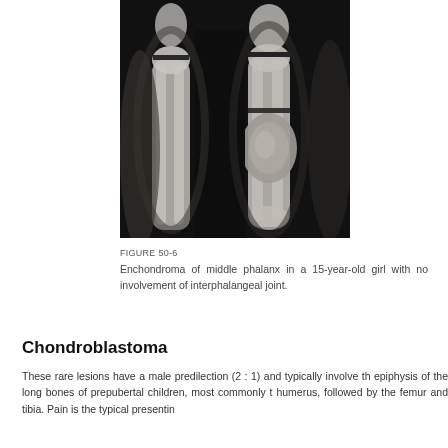[Figure (photo): X-ray image of fingers showing enchondroma of middle phalanx — two finger bones visible against dark background]
FIGURE 50-6
Enchondroma of middle phalanx in a 15-year-old girl with no involvement of interphalangeal joint.
Chondroblastoma
These rare lesions have a male predilection (2 : 1) and typically involve the epiphysis of the long bones of prepubertal children, most commonly the humerus, followed by the femur and tibia. Pain is the typical presenting